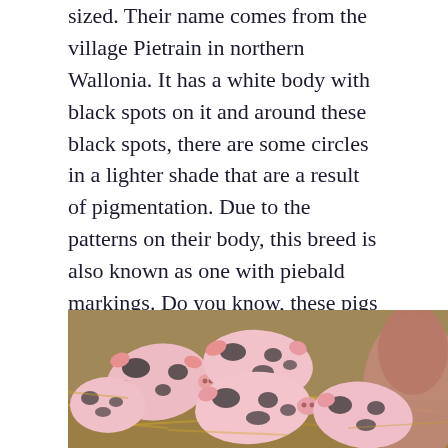sized. Their name comes from the village Pietrain in northern Wallonia. It has a white body with black spots on it and around these black spots, there are some circles in a lighter shade that are a result of pigmentation. Due to the patterns on their body, this breed is also known as one with piebald markings. Do you know, these pigs are very famous as they are a source of top-quality pork. They have a meat content of around 83% which is the highest among any other species. Pigs are considered one of the smartest animals in the world.
[Figure (photo): Photo of several spotted piglets (Pietrain breed with black spots on white/pink bodies) lying together on straw, with a larger pig visible on the right side.]